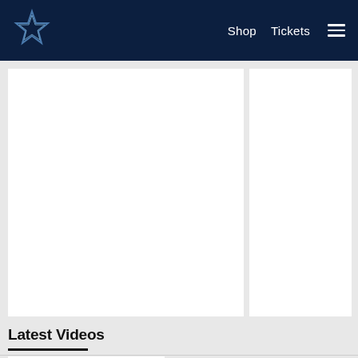Dallas Cowboys – Shop | Tickets | Menu
[Figure (photo): Large white content card placeholder (main video or article image)]
[Figure (photo): Smaller white content card placeholder (sidebar video or article image)]
Latest Videos
[Figure (photo): Bottom left video thumbnail placeholder]
[Figure (photo): Bottom right video thumbnail placeholder]